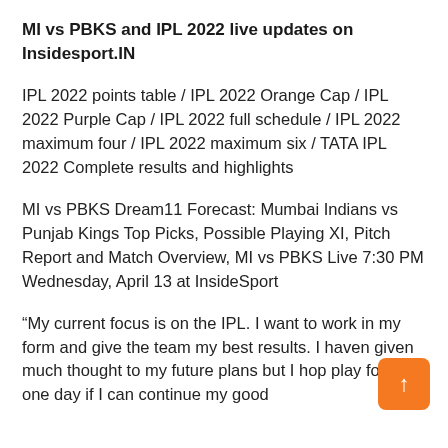MI vs PBKS and IPL 2022 live updates on Insidesport.IN
IPL 2022 points table / IPL 2022 Orange Cap / IPL 2022 Purple Cap / IPL 2022 full schedule / IPL 2022 maximum four / IPL 2022 maximum six / TATA IPL 2022 Complete results and highlights
MI vs PBKS Dream11 Forecast: Mumbai Indians vs Punjab Kings Top Picks, Possible Playing XI, Pitch Report and Match Overview, MI vs PBKS Live 7:30 PM Wednesday, April 13 at InsideSport
“My current focus is on the IPL. I want to work in my form and give the team my best results. I haven given much thought to my future plans but I hop play for India one day if I can continue my good